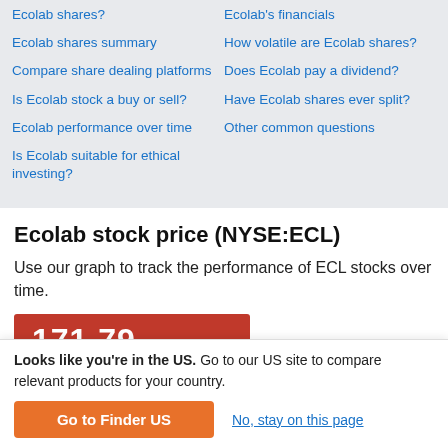Ecolab shares?
Ecolab shares summary
Compare share dealing platforms
Is Ecolab stock a buy or sell?
Ecolab performance over time
Is Ecolab suitable for ethical investing?
Ecolab's financials
How volatile are Ecolab shares?
Does Ecolab pay a dividend?
Have Ecolab shares ever split?
Other common questions
Ecolab stock price (NYSE:ECL)
Use our graph to track the performance of ECL stocks over time.
171.79
Looks like you're in the US. Go to our US site to compare relevant products for your country.
Go to Finder US
No, stay on this page